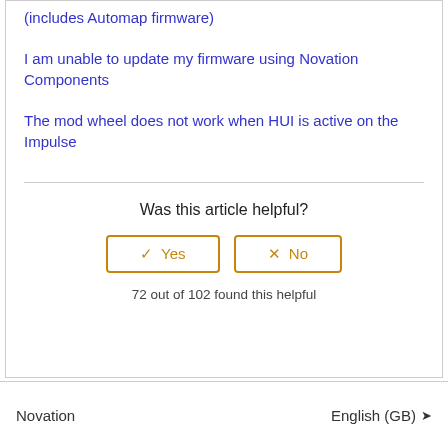(includes Automap firmware)
I am unable to update my firmware using Novation Components
The mod wheel does not work when HUI is active on the Impulse
Was this article helpful?
72 out of 102 found this helpful
Novation   English (GB)